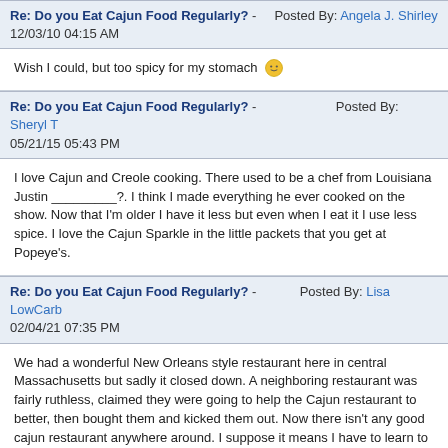Re: Do you Eat Cajun Food Regularly? - Posted By: Angela J. Shirley
12/03/10 04:15 AM
Wish I could, but too spicy for my stomach 😐
Re: Do you Eat Cajun Food Regularly? - Posted By: Sheryl T
05/21/15 05:43 PM
I love Cajun and Creole cooking. There used to be a chef from Louisiana Justin _________?. I think I made everything he ever cooked on the show. Now that I'm older I have it less but even when I eat it I use less spice. I love the Cajun Sparkle in the little packets that you get at Popeye's.
Re: Do you Eat Cajun Food Regularly? - Posted By: Lisa LowCarb
02/04/21 07:35 PM
We had a wonderful New Orleans style restaurant here in central Massachusetts but sadly it closed down. A neighboring restaurant was fairly ruthless, claimed they were going to help the Cajun restaurant to better, then bought them and kicked them out. Now there isn't any good cajun restaurant anywhere around. I suppose it means I have to learn to cook more recipes ...
© BellaOnline Forums